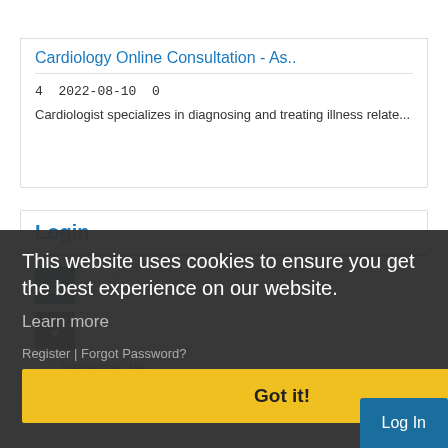Cardiology Online Consultation - As..
4  2022-08-10  0
Cardiologist specializes in diagnosing and treating illness relate...
Login
Email
This website uses cookies to ensure you get the best experience on our website.
Learn more
Remember Me
Got it!
Register | Forgot Password?
Log In